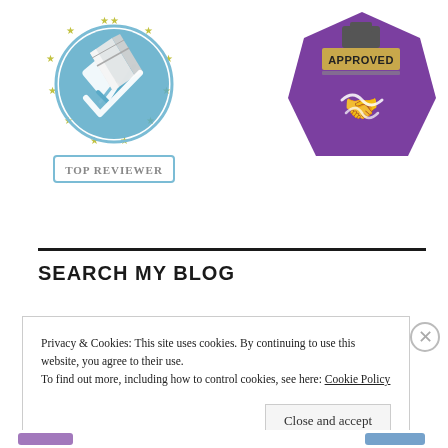[Figure (logo): Top Reviewer badge: circular blue badge with pen/checkmark icon, surrounded by gold stars, with 'TOP REVIEWER' text in a rectangular border below]
[Figure (logo): Approved stamp badge: purple hexagon shape with a rubber stamp icon pressing down, 'APPROVED' text on the stamp face, and a handshake icon below]
SEARCH MY BLOG
Privacy & Cookies: This site uses cookies. By continuing to use this website, you agree to their use.
To find out more, including how to control cookies, see here: Cookie Policy
Close and accept